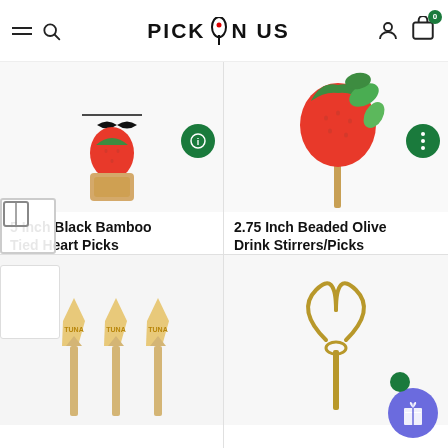PICK ON US
[Figure (photo): Black bamboo tied heart pick with strawberry and marshmallow]
5 Inch Black Bamboo Tied Heart Picks
From $5.50
[Figure (photo): 2.75 Inch Beaded Olive Drink Stirrer/Pick with strawberry and mint]
2.75 Inch Beaded Olive Drink Stirrers/Picks
From $2.50
[Figure (photo): Three wooden TUNA labeled picks]
[Figure (photo): Gold wire decorative heart pick/stirrer]